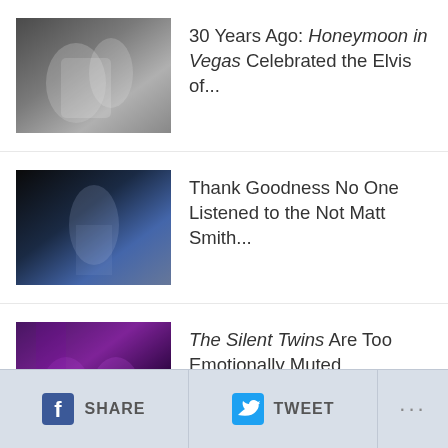30 Years Ago: Honeymoon in Vegas Celebrated the Elvis of...
Thank Goodness No One Listened to the Not Matt Smith...
The Silent Twins Are Too Emotionally Muted
Twin Peaks: Fire Walk with Me Set The Stage For...
SHARE   TWEET   ...